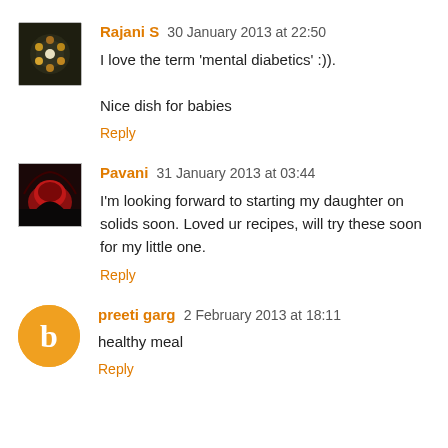Rajani S 30 January 2013 at 22:50
I love the term 'mental diabetics' :)).
Nice dish for babies
Reply
Pavani 31 January 2013 at 03:44
I'm looking forward to starting my daughter on solids soon. Loved ur recipes, will try these soon for my little one.
Reply
preeti garg 2 February 2013 at 18:11
healthy meal
Reply